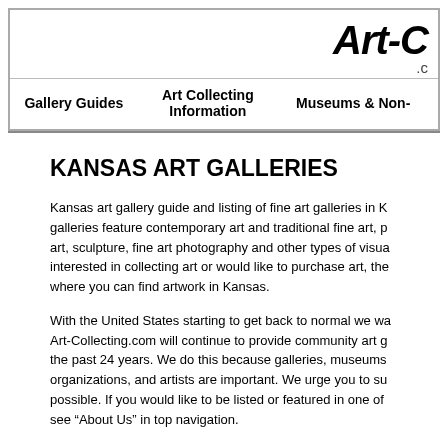Art-C .c
Gallery Guides   Art Collecting Information   Museums & Non-
KANSAS ART GALLERIES
Kansas art gallery guide and listing of fine art galleries in K... galleries feature contemporary art and traditional fine art, p... art, sculpture, fine art photography and other types of visua... interested in collecting art or would like to purchase art, the... where you can find artwork in Kansas.
With the United States starting to get back to normal we wa... Art-Collecting.com will continue to provide community art g... the past 24 years. We do this because galleries, museums... organizations, and artists are important. We urge you to su... possible. If you would like to be listed or featured in one of... see "About Us" in top navigation.
Art-Collecting.com provides the most comprehensive and e...